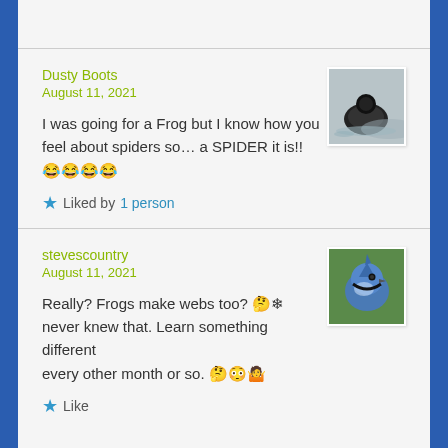Dusty Boots
August 11, 2021
[Figure (photo): Small bird (loon/duck) on water, gray tones]
I was going for a Frog but I know how you feel about spiders so… a SPIDER it is!! 😂😂😂😂
★ Liked by 1 person
stevescountry
August 11, 2021
[Figure (photo): Blue jay bird close-up, colorful feathers]
Really? Frogs make webs too? 🤔❄ never knew that. Learn something different every other month or so. 🤔😳🤷
★ Like